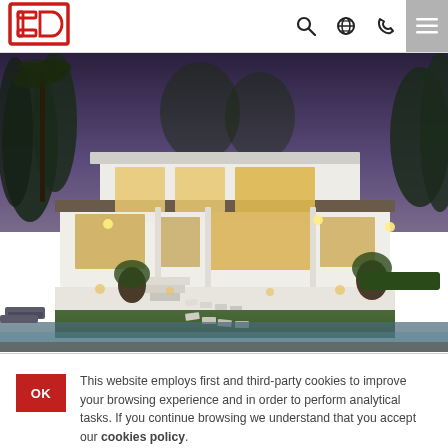3D logo and navigation icons (search, globe, phone, menu)
[Figure (photo): Exterior night photograph of a large modern white luxury villa with warm interior lighting, surrounded by palm trees and tropical landscaping, with a pool in the foreground and stepped garden terraces.]
This website employs first and third-party cookies to improve your browsing experience and in order to perform analytical tasks. If you continue browsing we understand that you accept our cookies policy.